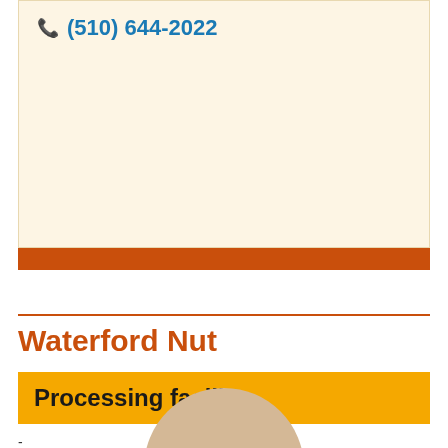(510) 644-2022
Waterford Nut
Processing facility
-